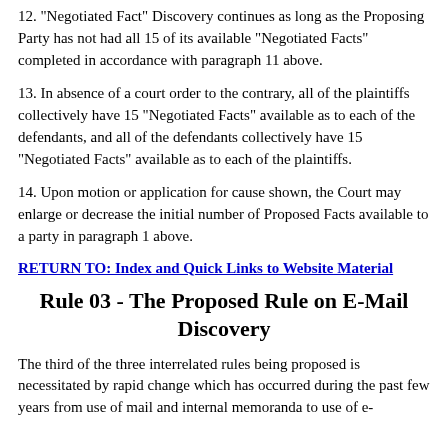12. "Negotiated Fact" Discovery continues as long as the Proposing Party has not had all 15 of its available "Negotiated Facts" completed in accordance with paragraph 11 above.
13. In absence of a court order to the contrary, all of the plaintiffs collectively have 15 "Negotiated Facts" available as to each of the defendants, and all of the defendants collectively have 15 "Negotiated Facts" available as to each of the plaintiffs.
14. Upon motion or application for cause shown, the Court may enlarge or decrease the initial number of Proposed Facts available to a party in paragraph 1 above.
RETURN TO: Index and Quick Links to Website Material
Rule 03 - The Proposed Rule on E-Mail Discovery
The third of the three interrelated rules being proposed is necessitated by rapid change which has occurred during the past few years from use of mail and internal memoranda to use of e-